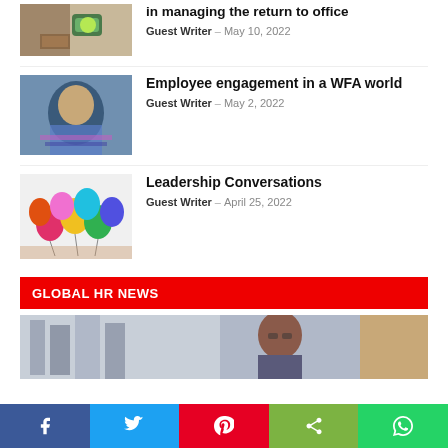[Figure (photo): Person at desk with green cup, blurred background]
in managing the return to office
Guest Writer – May 10, 2022
[Figure (photo): Person in sparkly outfit typing on laptop]
Employee engagement in a WFA world
Guest Writer – May 2, 2022
[Figure (photo): Colorful balloons held by people]
Leadership Conversations
Guest Writer – April 25, 2022
GLOBAL HR NEWS
[Figure (photo): Woman with glasses looking up, building in background]
Social share bar: Facebook, Twitter, Pinterest, Share, WhatsApp